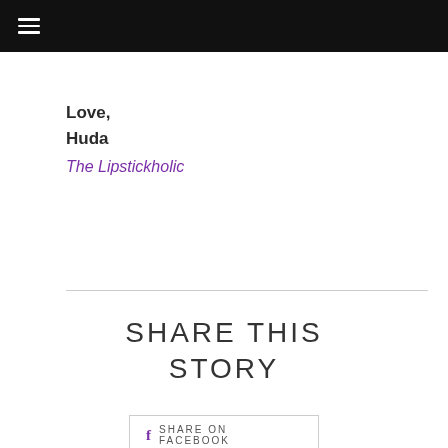☰
Love,
Huda
The Lipstickholic
SHARE THIS STORY
f  SHARE ON FACEBOOK